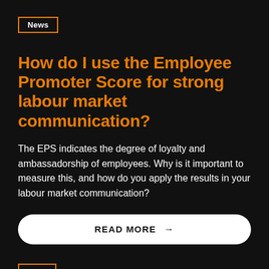News
How do I use the Employee Promoter Score for strong labour market communication?
The EPS indicates the degree of loyalty and ambassadorship of employees. Why is it important to measure this, and how do you apply the results in your labour market communication?
READ MORE →
Case
The Power of Group...